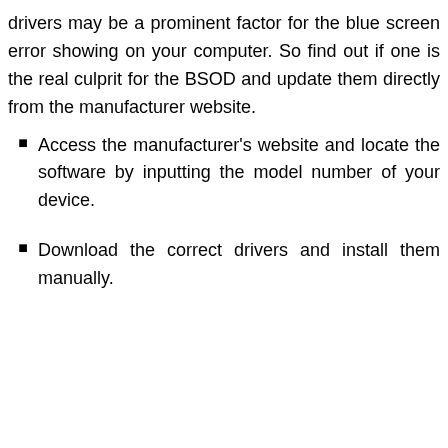drivers may be a prominent factor for the blue screen error showing on your computer. So find out if one is the real culprit for the BSOD and update them directly from the manufacturer website.
Access the manufacturer's website and locate the software by inputting the model number of your device.
Download the correct drivers and install them manually.